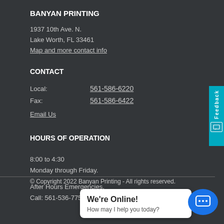BANYAN PRINTING
1937 10th Ave. N.
Lake Worth, FL 33461
Map and more contact info
CONTACT
Local:    561-586-6220
Fax:    561-586-6422
Email Us
HOURS OF OPERATION
8:00 to 4:30
Monday through Friday.

After Hours Emergencies,
Call: 561-536-7751
© Copyright 2022 Banyan Printing - All rights reserved.
We're Online!
How may I help you today?